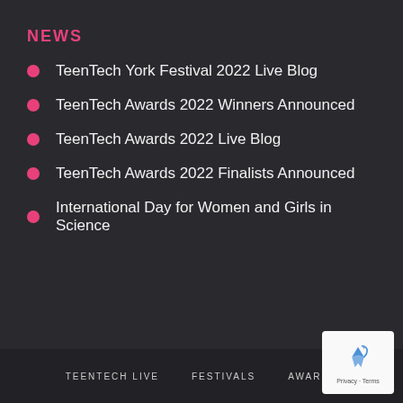NEWS
TeenTech York Festival 2022 Live Blog
TeenTech Awards 2022 Winners Announced
TeenTech Awards 2022 Live Blog
TeenTech Awards 2022 Finalists Announced
International Day for Women and Girls in Science
TEENTECH LIVE   FESTIVALS   AWARDS